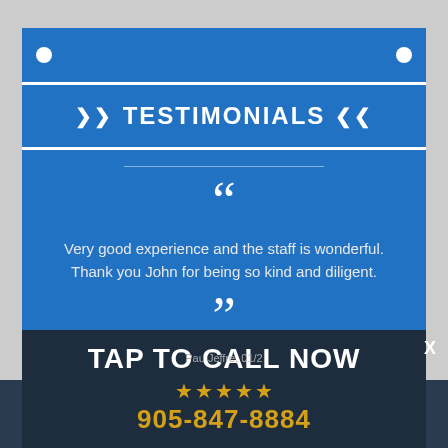TESTIMONIALS
Very good experience and the staff is wonderful. Thank you John for being so kind and diligent.
TAP TO CALL NOW
Pau Jeffre, 01/2
905-847-8884